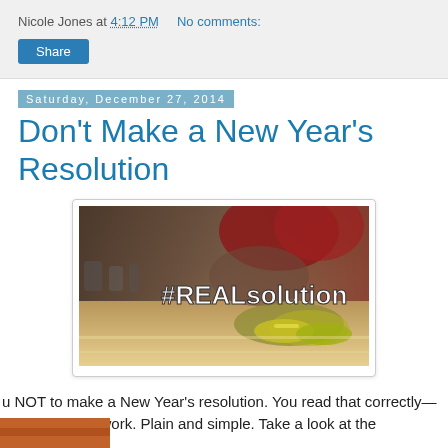Nicole Jones at 4:12 PM   No comments:
Share
Saturday, December 27, 2014
Don't Make a New Year's Resolution
[Figure (photo): Person tying athletic shoes with text '#REALsolution' overlaid in white bold font on a blurred gym background]
u NOT to make a New Year's resolution. You read that correctly— on. They don't work. Plain and simple. Take a look at the